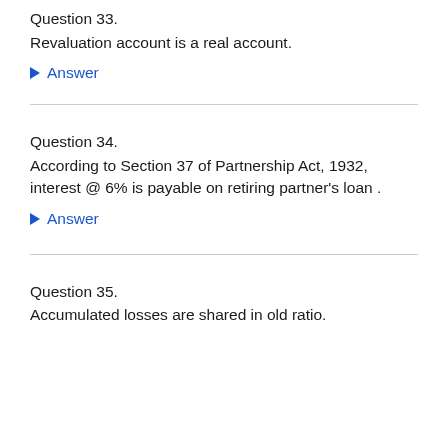Question 33.
Revaluation account is a real account.
▶ Answer
Question 34.
According to Section 37 of Partnership Act, 1932, interest @ 6% is payable on retiring partner's loan .
▶ Answer
Question 35.
Accumulated losses are shared in old ratio.